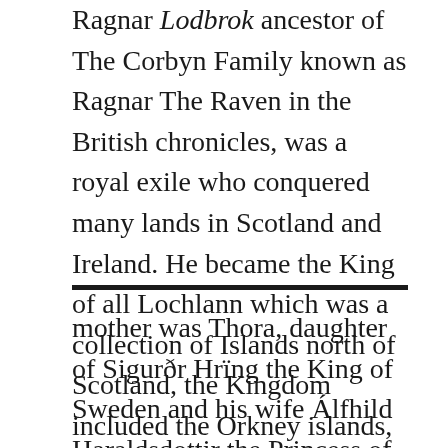Ragnar Lodbrok ancestor of The Corbyn Family known as Ragnar The Raven in the British chronicles, was a royal exile who conquered many lands in Scotland and Ireland. He became the King of all Lochlann which was a collection of Islands north of Scotland, the Kingdom included the Orkney islands, the Isle of Mann and the Shetlands.
mother was Thora, daughter of Sigurðr Hrïng the King of Sweden and his wife Álfhild Haraldsdottir the Princess of Lethra. Hálfdan was murdered during the battle of Walcherin by the sons of Güdrod causing Thora to flee with her children to the kingdom of Órans...